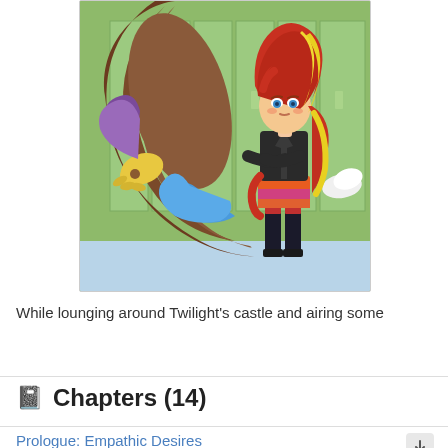[Figure (illustration): Animated illustration showing a large brown serpentine dragon creature with yellow claw, blue wing, purple bat wing, and a girl character with red and yellow hair wearing a black jacket and orange skirt, standing in front of green school lockers.]
While lounging around Twilight's castle and airing some
+ More
Chapters (14)
Prologue: Empathic Desires
· 14th Nov 2014 · 3,366 words